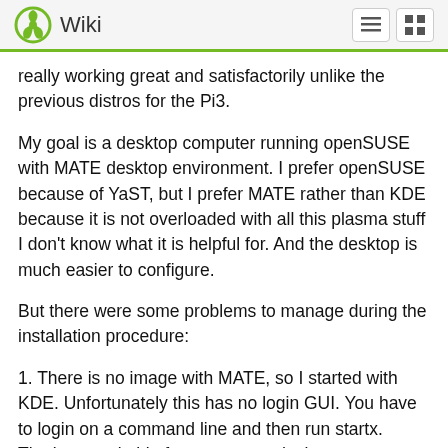Wiki
really working great and satisfactorily unlike the previous distros for the Pi3.
My goal is a desktop computer running openSUSE with MATE desktop environment. I prefer openSUSE because of YaST, but I prefer MATE rather than KDE because it is not overloaded with all this plasma stuff I don't know what it is helpful for. And the desktop is much easier to configure.
But there were some problems to manage during the installation procedure:
1. There is no image with MATE, so I started with KDE. Unfortunately this has no login GUI. You have to login on a command line and then run startx. That's not suitable for a common desktop user. Furthermore I don't know how to